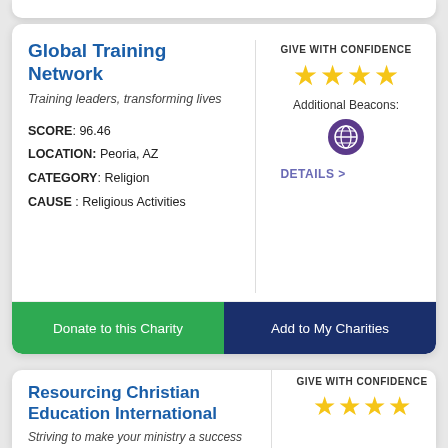Global Training Network
Training leaders, transforming lives
SCORE: 96.46
LOCATION: Peoria, AZ
CATEGORY: Religion
CAUSE: Religious Activities
[Figure (infographic): Give With Confidence rating: 4 stars, with an additional beacon icon]
DETAILS >
Donate to this Charity
Add to My Charities
Resourcing Christian Education International
Striving to make your ministry a success for the Kingdom of God
[Figure (infographic): Give With Confidence rating: 4 stars]